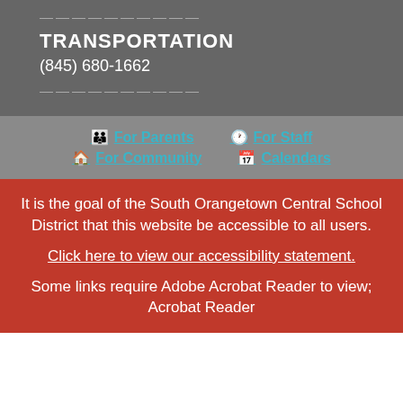————————————
TRANSPORTATION
(845) 680-1662
————————————
For Parents
For Staff
For Community
Calendars
It is the goal of the South Orangetown Central School District that this website be accessible to all users.
Click here to view our accessibility statement.
Some links require Adobe Acrobat Reader to view; Acrobat Reader